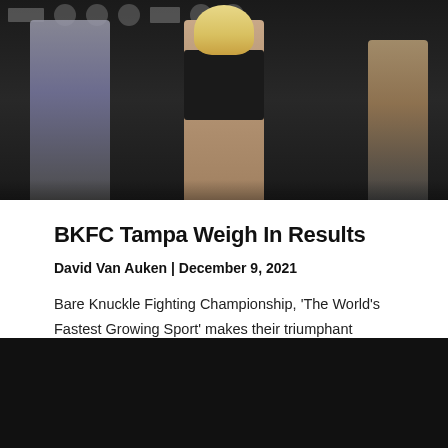[Figure (photo): Fighter at a weigh-in event standing in front of a black backdrop with sponsor logos. A blonde woman in a black sports bra is centered, flanked by others partially visible.]
BKFC Tampa Weigh In Results
David Van Auken | December 9, 2021
Bare Knuckle Fighting Championship, 'The World's Fastest Growing Sport' makes their triumphant return to Tampa, FL for their fourth event with BKFC Fight Night Tampa
Continue Reading